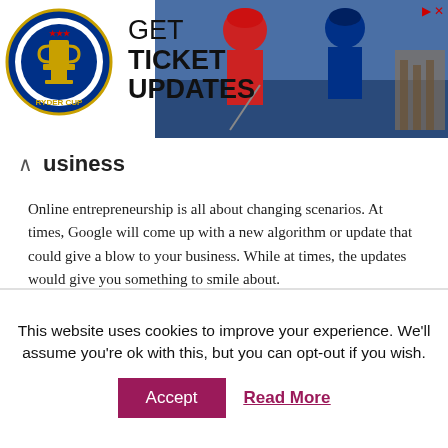[Figure (photo): Ryder Cup advertisement banner with logo on left and golfers photo on right, text 'GET TICKET UPDATES']
business
Online entrepreneurship is all about changing scenarios. At times, Google will come up with a new algorithm or update that could give a blow to your business. While at times, the updates would give you something to smile about.
When it comes to online business, you need to ensure that you are keeping yourself updated with the knowledge. Enroll in online courses, read blogs written by influencers, and gain certifications with the
This website uses cookies to improve your experience. We'll assume you're ok with this, but you can opt-out if you wish.